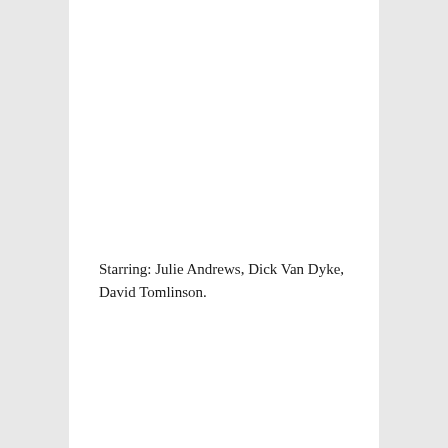Starring: Julie Andrews, Dick Van Dyke, David Tomlinson.